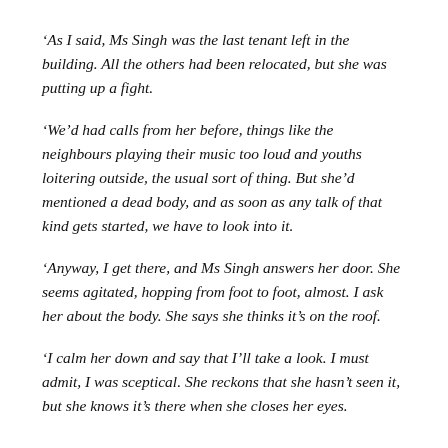‘As I said, Ms Singh was the last tenant left in the building. All the others had been relocated, but she was putting up a fight.
‘We’d had calls from her before, things like the neighbours playing their music too loud and youths loitering outside, the usual sort of thing. But she’d mentioned a dead body, and as soon as any talk of that kind gets started, we have to look into it.
‘Anyway, I get there, and Ms Singh answers her door. She seems agitated, hopping from foot to foot, almost. I ask her about the body. She says she thinks it’s on the roof.
‘I calm her down and say that I’ll take a look. I must admit, I was sceptical. She reckons that she hasn’t seen it, but she knows it’s there when she closes her eyes.